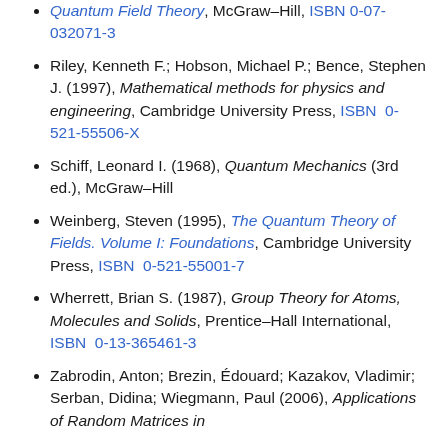Quantum Field Theory, McGraw–Hill, ISBN 0-07-032071-3
Riley, Kenneth F.; Hobson, Michael P.; Bence, Stephen J. (1997), Mathematical methods for physics and engineering, Cambridge University Press, ISBN 0-521-55506-X
Schiff, Leonard I. (1968), Quantum Mechanics (3rd ed.), McGraw–Hill
Weinberg, Steven (1995), The Quantum Theory of Fields. Volume I: Foundations, Cambridge University Press, ISBN 0-521-55001-7
Wherrett, Brian S. (1987), Group Theory for Atoms, Molecules and Solids, Prentice–Hall International, ISBN 0-13-365461-3
Zabrodin, Anton; Brezin, Édouard; Kazakov, Vladimir; Serban, Didina; Wiegmann, Paul (2006), Applications of Random Matrices in